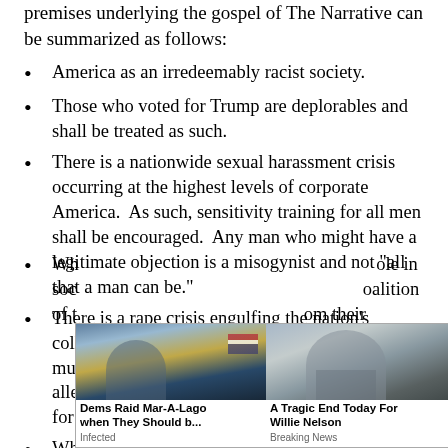premises underlying the gospel of The Narrative can be summarized as follows:
America as an irredeemably racist society.
Those who voted for Trump are deplorables and shall be treated as such.
There is a nationwide sexual harassment crisis occurring at the highest levels of corporate America.  As such, sensitivity training for all men shall be encouraged.  Any man who might have a legitimate objection is a misogynist and not "all that a man can be."
There is a rape crisis engulfing the nation's colleges and universities.  As such, kangaroo courts must be established.  Procedures shall favor the allegations of the victim – due process protections for the acc[used are irrelevant].
Wh[ites must acknowledge their privileged r]ole in soc[iety and accept that they are part of a c]oalition of t[hose seeking to wrest power fr]om their [own group. Wh]ite...
[Figure (photo): Two advertisement overlays: Left ad shows image of Trump in the White House with headline 'Dems Raid Mar-A-Lago when They Should b...' sourced from 'Infected'. Right ad shows image of elderly man with headline 'A Tragic End Today For Willie Nelson' sourced from 'Breaking News'. A close/X button appears in top right corner of the ad block.]